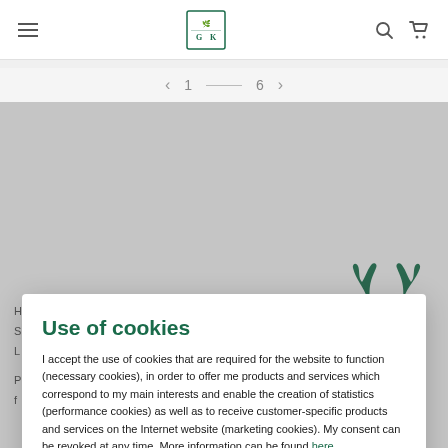Navigation bar with hamburger menu, GK logo, search and cart icons
< 1 — 6 >
Use of cookies
I accept the use of cookies that are required for the website to function (necessary cookies), in order to offer me products and services which correspond to my main interests and enable the creation of statistics (performance cookies) as well as to receive customer-specific products and services on the Internet website (marketing cookies). My consent can be revoked at any time. More information can be found here.
Accept